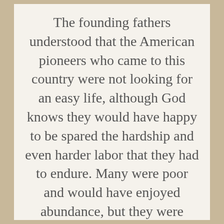The founding fathers understood that the American pioneers who came to this country were not looking for an easy life, although God knows they would have happy to be spared the hardship and even harder labor that they had to endure. Many were poor and would have enjoyed abundance, but they were looking to fulfill a vision; their faith, and their ideas with their intellect which meant not having a government to harass and hold them down to a common level for the benefit of the "general welfare." The promise this new country had for those who came